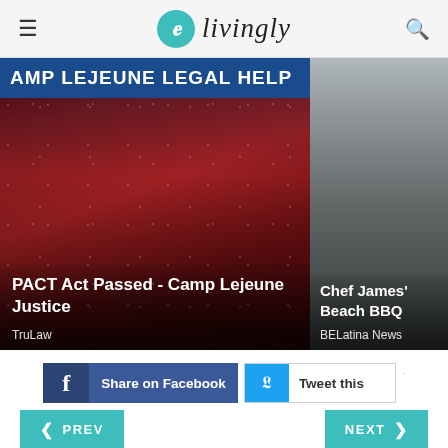livingly
[Figure (photo): Left card: Camp Lejeune Legal Help advertisement with US flag and handshake background. Blue banner at top reads 'AMP LEJEUNE LEGAL HELP'. Card title: 'PACT Act Passed - Camp Lejeune Justice'. Source: TruLaw]
[Figure (photo): Right card: Gray/gradient background. Card title: 'Chef James' Beach BBQ'. Source: BELatina News]
[Figure (screenshot): Share on Facebook button (blue) and Tweet this button (white/blue)]
PREV
NEXT